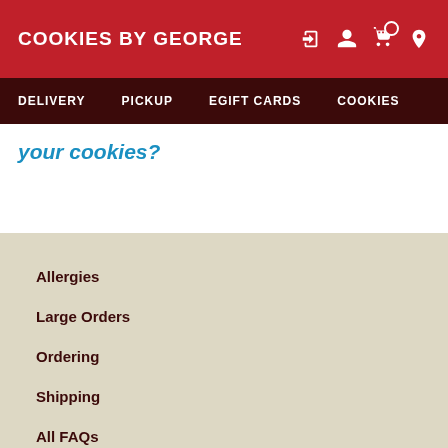COOKIES BY GEORGE
DELIVERY   PICKUP   EGIFT CARDS   COOKIES
your cookies?
Allergies
Large Orders
Ordering
Shipping
All FAQs